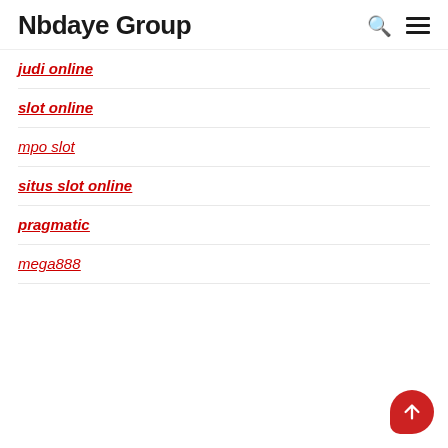Nbdaye Group
judi online
slot online
mpo slot
situs slot online
pragmatic
mega888